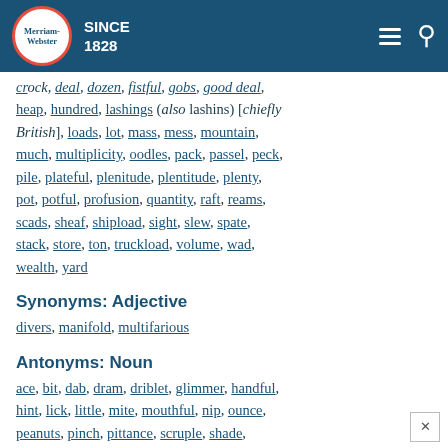Merriam-Webster SINCE 1828
crock, deal, dozen, fistful, gobs, good deal, heap, hundred, lashings (also lashins) [chiefly British], loads, lot, mass, mess, mountain, much, multiplicity, oodles, pack, passel, peck, pile, plateful, plenitude, plentitude, plenty, pot, potful, profusion, quantity, raft, reams, scads, sheaf, shipload, sight, slew, spate, stack, store, ton, truckload, volume, wad, wealth, yard
Synonyms: Adjective
divers, manifold, multifarious
Antonyms: Noun
ace, bit, dab, dram, driblet, glimmer, handful, hint, lick, little, mite, mouthful, nip, ounce, peanuts, pinch, pittance, scruple, shade, shadow, smidgen (also smidgeon or smidgin or